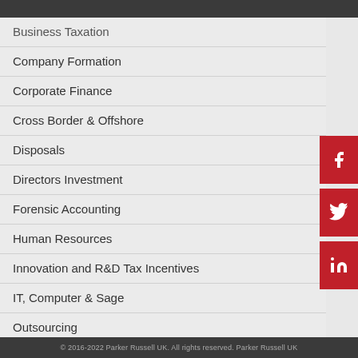Business Taxation
Company Formation
Corporate Finance
Cross Border & Offshore
Disposals
Directors Investment
Forensic Accounting
Human Resources
Innovation and R&D Tax Incentives
IT, Computer & Sage
Outsourcing
Private Client Taxation
Specialist Services
Starting a UK Business
UK Inward Investment
© 2016-2022 Parker Russell UK. All rights reserved. Parker Russell UK